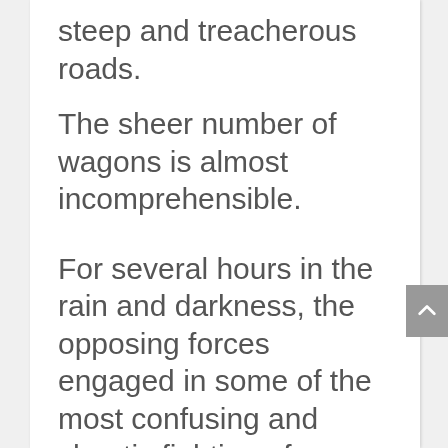steep and treacherous roads. The sheer number of wagons is almost incomprehensible. For several hours in the rain and darkness, the opposing forces engaged in some of the most confusing and chaotic fighting of the Civil War. In some instances...